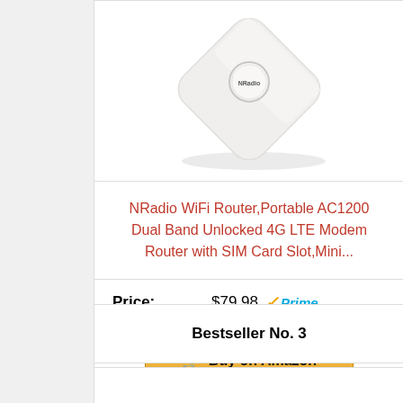[Figure (photo): NRadio WiFi router device - white square compact router with rounded corners, NRadio logo on top, photographed from above at an angle on white background]
NRadio WiFi Router,Portable AC1200 Dual Band Unlocked 4G LTE Modem Router with SIM Card Slot,Mini...
Price: $79.98 Prime
Buy on Amazon
Bestseller No. 3